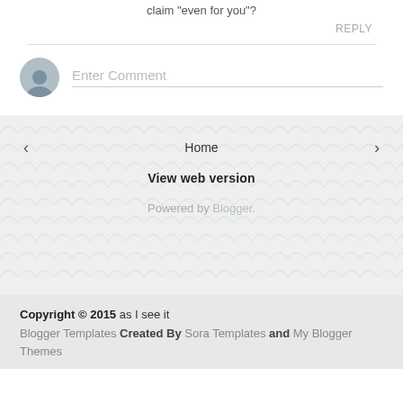claim "even for you"?
REPLY
Enter Comment
Home
View web version
Powered by Blogger.
Copyright © 2015 as I see it
Blogger Templates Created By Sora Templates and My Blogger Themes